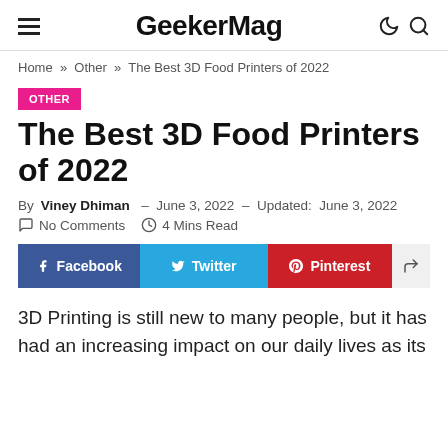GeekerMag
Home » Other » The Best 3D Food Printers of 2022
OTHER
The Best 3D Food Printers of 2022
By Viney Dhiman – June 3, 2022 – Updated: June 3, 2022
No Comments   4 Mins Read
Facebook  Twitter  Pinterest  Share
3D Printing is still new to many people, but it has had an increasing impact on our daily lives as its application...